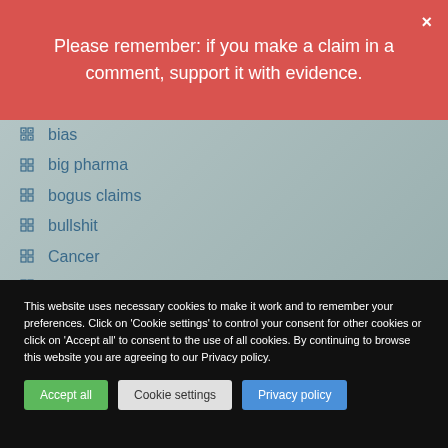Please remember: if you make a claim in a comment, support it with evidence.
bias
big pharma
bogus claims
bullshit
Cancer
caniosacral therapy
case report
case-control study
causation
charlatan
This website uses necessary cookies to make it work and to remember your preferences. Click on 'Cookie settings' to control your consent for other cookies or click on 'Accept all' to consent to the use of all cookies. By continuing to browse this website you are agreeing to our Privacy policy.
Accept all | Cookie settings | Privacy policy